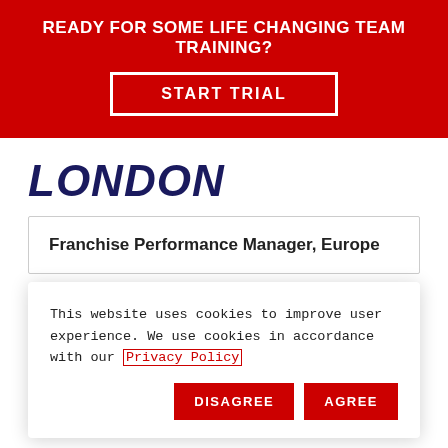READY FOR SOME LIFE CHANGING TEAM TRAINING?
START TRIAL
LONDON
Franchise Performance Manager, Europe
DENVER
This website uses cookies to improve user experience. We use cookies in accordance with our Privacy Policy
DISAGREE  AGREE
SANTA MONICA